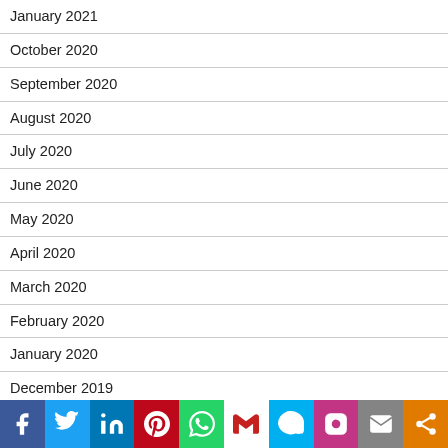January 2021
October 2020
September 2020
August 2020
July 2020
June 2020
May 2020
April 2020
March 2020
February 2020
January 2020
December 2019
[Figure (infographic): Social sharing bar with icons: Facebook, Twitter, LinkedIn, Pinterest, WhatsApp, Gmail, Skype, Instagram, Email, Share]